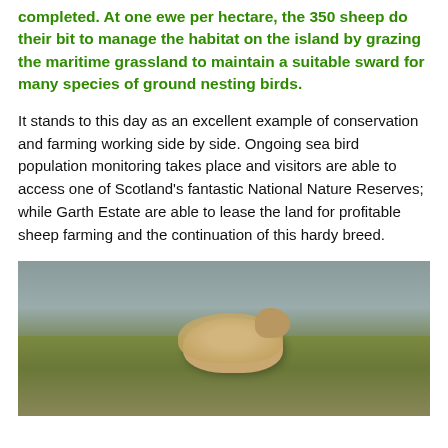completed. At one ewe per hectare, the 350 sheep do their bit to manage the habitat on the island by grazing the maritime grassland to maintain a suitable sward for many species of ground nesting birds.
It stands to this day as an excellent example of conservation and farming working side by side. Ongoing sea bird population monitoring takes place and visitors are able to access one of Scotland's fantastic National Nature Reserves; while Garth Estate are able to lease the land for profitable sheep farming and the continuation of this hardy breed.
[Figure (photo): A photograph of a sheep (appearing light brown/golden coloured) grazing in maritime grassland, with a grey overcast sky and green-brown grass in the background.]